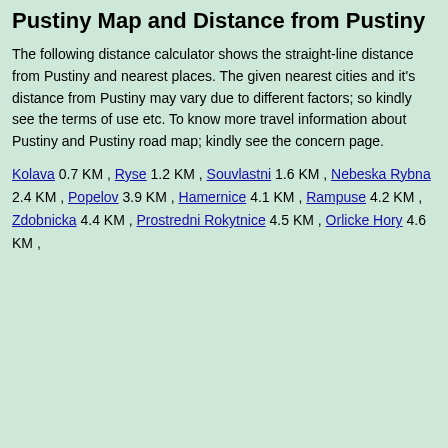Pustiny Map and Distance from Pustiny
The following distance calculator shows the straight-line distance from Pustiny and nearest places. The given nearest cities and it's distance from Pustiny may vary due to different factors; so kindly see the terms of use etc. To know more travel information about Pustiny and Pustiny road map; kindly see the concern page.
Kolava 0.7 KM , Ryse 1.2 KM , Souvlastni 1.6 KM , Nebeska Rybna 2.4 KM , Popelov 3.9 KM , Hamernice 4.1 KM , Rampuse 4.2 KM , Zdobnicka 4.4 KM , Prostredni Rokytnice 4.5 KM , Orlicke Hory 4.6 KM ,